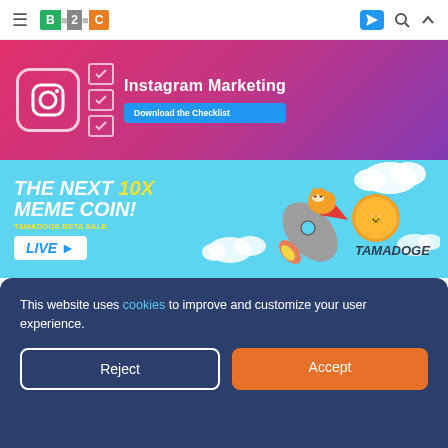B2C navigation bar with hamburger menu, B2C logo, Telegram icon, search icon, and expand icon
[Figure (screenshot): Instagram Marketing banner with Instagram icon, checklist items, title 'Instagram Marketing', and 'Download the Checklist' button on pink/purple gradient background]
[Figure (screenshot): Tamadoge advertisement banner: 'THE NEXT 10X MEME COIN! TAMADOGE BETA SALE LIVE' with rocket and cartoon dog imagery on light blue background with TAMADOGE coin logo]
This website uses cookies to improve and customize your user experience.